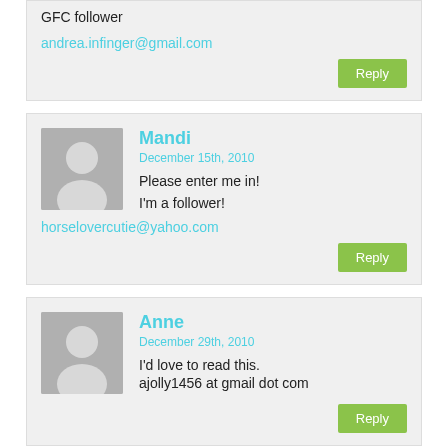GFC follower
andrea.infinger@gmail.com
Reply
Mandi
December 15th, 2010
Please enter me in!
I'm a follower!
horselovercutie@yahoo.com
Reply
Anne
December 29th, 2010
I'd love to read this. ajolly1456 at gmail dot com
Reply